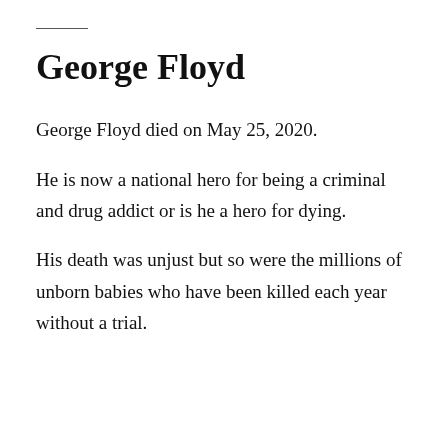George Floyd
George Floyd died on May 25, 2020.
He is now a national hero for being a criminal and drug addict or is he a hero for dying.
His death was unjust but so were the millions of unborn babies who have been killed each year without a trial.